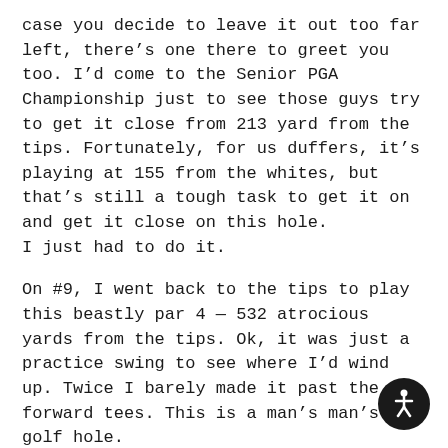case you decide to leave it out too far left, there's one there to greet you too. I'd come to the Senior PGA Championship just to see those guys try to get it close from 213 yard from the tips. Fortunately, for us duffers, it's playing at 155 from the whites, but that's still a tough task to get it on and get it close on this hole. I just had to do it.

On #9, I went back to the tips to play this beastly par 4 — 532 atrocious yards from the tips. Ok, it was just a practice swing to see where I'd wind up. Twice I barely made it past the forward tees. This is a man's man's golf hole.

The 10th teebox sits high atop a hill with a 360 view for miles. Today's skies
[Figure (illustration): Accessibility icon button — circular dark badge with white wheelchair/person accessibility symbol]